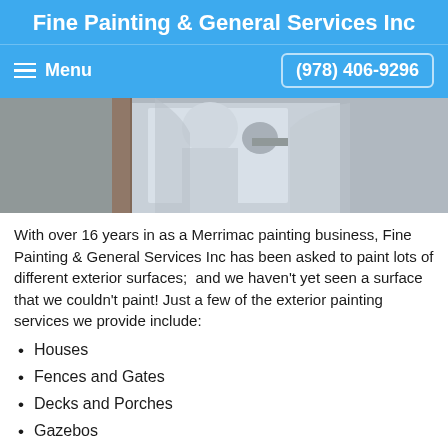Fine Painting & General Services Inc
Menu    (978) 406-9296
[Figure (photo): Photo collage showing a painter at work and painted surfaces/doors]
With over 16 years in as a Merrimac painting business, Fine Painting & General Services Inc has been asked to paint lots of different exterior surfaces;  and we haven't yet seen a surface that we couldn't paint! Just a few of the exterior painting services we provide include:
Houses
Fences and Gates
Decks and Porches
Gazebos
Light Posts and Railings